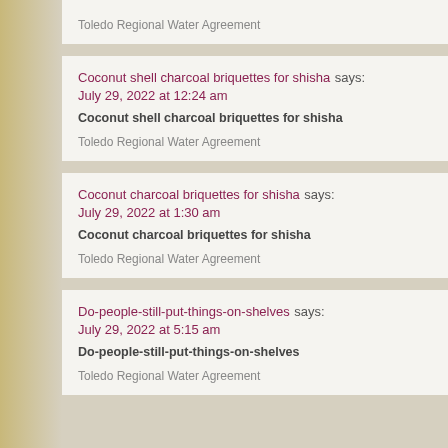Toledo Regional Water Agreement
Coconut shell charcoal briquettes for shisha says:
July 29, 2022 at 12:24 am
Coconut shell charcoal briquettes for shisha
Toledo Regional Water Agreement
Coconut charcoal briquettes for shisha says:
July 29, 2022 at 1:30 am
Coconut charcoal briquettes for shisha
Toledo Regional Water Agreement
Do-people-still-put-things-on-shelves says:
July 29, 2022 at 5:15 am
Do-people-still-put-things-on-shelves
Toledo Regional Water Agreement